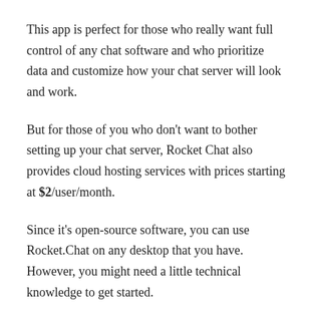This app is perfect for those who really want full control of any chat software and who prioritize data and customize how your chat server will look and work.
But for those of you who don't want to bother setting up your chat server, Rocket Chat also provides cloud hosting services with prices starting at $2/user/month.
Since it's open-source software, you can use Rocket.Chat on any desktop that you have. However, you might need a little technical knowledge to get started.
Key features: